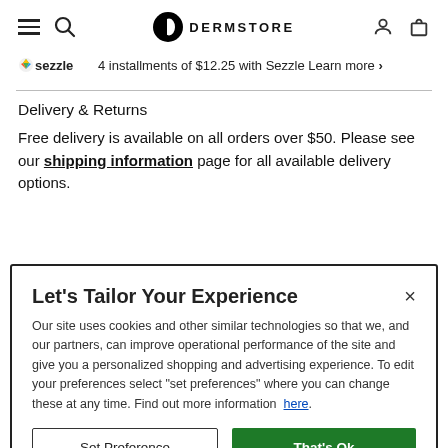Dermstore navigation header with hamburger menu, search, logo, user account, and cart icons
4 installments of $12.25 with Sezzle Learn more >
Delivery & Returns
Free delivery is available on all orders over $50. Please see our shipping information page for all available delivery options.
Let's Tailor Your Experience
Our site uses cookies and other similar technologies so that we, and our partners, can improve operational performance of the site and give you a personalized shopping and advertising experience. To edit your preferences select "set preferences" where you can change these at any time. Find out more information here.
Set Preference | That's Ok